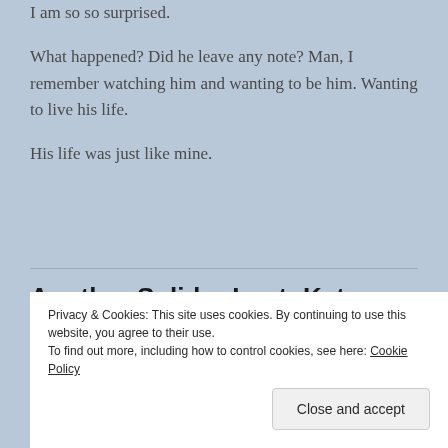I am so so surprised.
What happened? Did he leave any note? Man, I remember watching him and wanting to be him. Wanting to live his life.
His life was just like mine.
Another Solider Lost: Kate Spade
Privacy & Cookies: This site uses cookies. By continuing to use this website, you agree to their use.
To find out more, including how to control cookies, see here: Cookie Policy
Close and accept